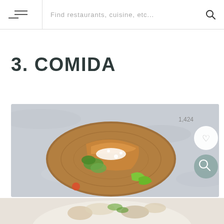Find restaurants, cuisine, etc...
3. COMIDA
[Figure (photo): Top-down photo of Mexican food on a wooden cutting board — enchiladas or tacos with cream, herbs (cilantro), lime wedges, on a marble/grey surface. Shows 1,424 likes with heart icon and a search magnifier button overlaid.]
[Figure (photo): Partial second food photo visible at bottom of page — bowl with salad or mixed dish on light background.]